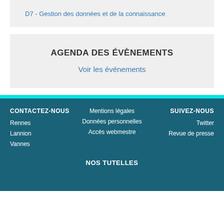D7 - Gestion des données et de la connaissance
AGENDA DES ÉVÈNEMENTS
Voir les événements
CONTACTEZ-NOUS | Rennes | Lannion | Vannes | Mentions légales | Données personnelles | Accès webmestre | SUIVEZ-NOUS | Twitter | Revue de presse | NOS TUTELLES